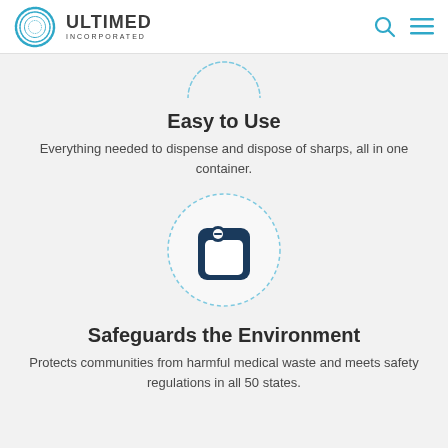ULTIMED INCORPORATED
[Figure (illustration): Dashed circle icon at top, partially visible]
Easy to Use
Everything needed to dispense and dispose of sharps, all in one container.
[Figure (illustration): Dashed circle with dark blue sharps container icon inside]
Safeguards the Environment
Protects communities from harmful medical waste and meets safety regulations in all 50 states.